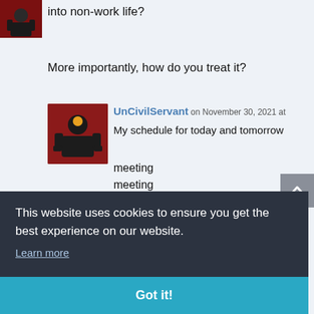[Figure (photo): Small dark avatar image partially visible at top-left, showing a robotic/dark figure]
into non-work life?
More importantly, how do you treat it?
[Figure (photo): User avatar for UnCivilServant showing a glowing figure on dark red background]
UnCivilServant on November 30, 2021 at
My schedule for today and tomorrow
meeting
meeting
meeting
This website uses cookies to ensure you get the best experience on our website.
Learn more
Got it!
meetings ad nausium